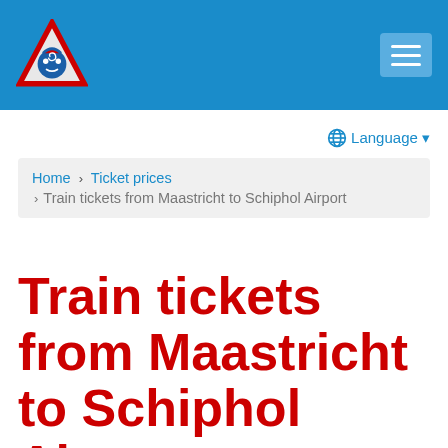[Figure (logo): Red triangle logo with a blue train/snail icon inside, set in a blue header bar with a hamburger menu button on the right]
Language ▼
Home › Ticket prices › Train tickets from Maastricht to Schiphol Airport
Train tickets from Maastricht to Schiphol Airport